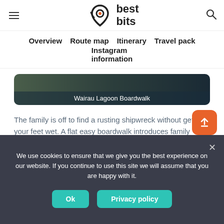[Figure (logo): Best Bits logo with stylized location pin icon and bold text 'best bits']
Overview  Route map  Itinerary  Travel pack  Instagram information
[Figure (photo): Wairau Lagoon Boardwalk scenic photo with caption overlay]
Wairau Lagoon Boardwalk
The family is off to find a rusting shipwreck without getting your feet wet. A flat easy boardwalk introduces family members to the habitat of the Wairau Lagoon as well as the rusting hulk of the Waver
We use cookies to ensure that we give you the best experience on our website. If you continue to use this site we will assume that you are happy with it.